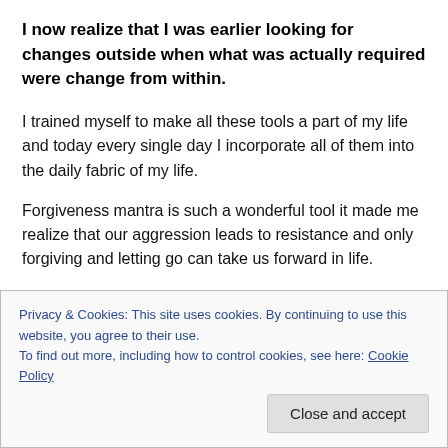I now realize that I was earlier looking for changes outside when what was actually required were change from within.
I trained myself to make all these tools a part of my life and today every single day I incorporate all of them into the daily fabric of my life.
Forgiveness mantra is such a wonderful tool it made me realize that our aggression leads to resistance and only forgiving and letting go can take us forward in life.
Privacy & Cookies: This site uses cookies. By continuing to use this website, you agree to their use.
To find out more, including how to control cookies, see here: Cookie Policy
Close and accept